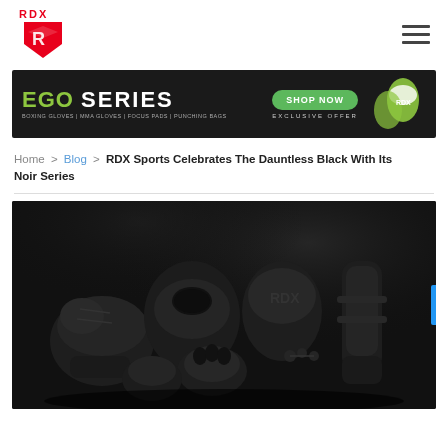[Figure (logo): RDX Sports logo - red shield with stylized R and RDX text above]
[Figure (infographic): EGO SERIES banner ad with green text, SHOP NOW green button, EXCLUSIVE OFFER text, and boxing gloves on dark background]
Home > Blog > RDX Sports Celebrates The Dauntless Black With Its Noir Series
[Figure (photo): Collection of black RDX sports equipment including boxing gloves, MMA gloves, focus pads, and shin guards arranged on dark smoky background]